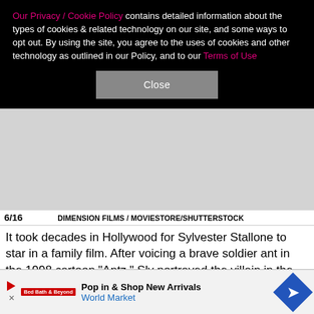Our Privacy / Cookie Policy contains detailed information about the types of cookies & related technology on our site, and some ways to opt out. By using the site, you agree to the uses of cookies and other technology as outlined in our Policy, and to our Terms of Use
Close
6/16    DIMENSION FILMS / MOVIESTORE/SHUTTERSTOCK
It took decades in Hollywood for Sylvester Stallone to star in a family film. After voicing a brave soldier ant in the 1998 cartoon "Antz," Sly portrayed the villain in the 2003 family action-comedy "Spy Kids 3-D: Game Over." 6/16
It took decades in Hollywood for Sylvester Stallone to star in a family film. After voicing a brave soldier ant in the 1998 cartoon "Antz," Sly portrayed the villain in the
X
Pop in & Shop New Arrivals World Market